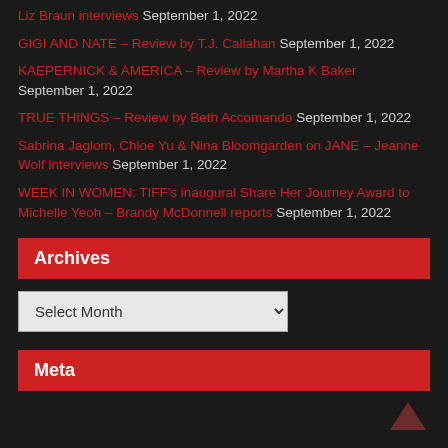Liz Braun interviews September 1, 2022
GIGI AND NATE – Review by T.J. Callahan September 1, 2022
KAEPERNICK & AMERICA – Review by Martha K Baker September 1, 2022
TRUE THINGS – Review by Beth Accomando September 1, 2022
Sabrina Jaglom, Chloe Yu & Nina Bloomgarden on JANE – Jeanne Wolf interviews September 1, 2022
WEEK IN WOMEN: TIFF's inaugural Share Her Journey Award to Michelle Yeoh – Brandy McDonnell reports September 1, 2022
Archives
Meta